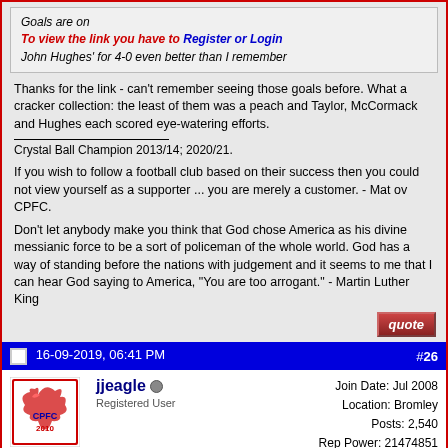Goals are on
To view the link you have to Register or Login
John Hughes' for 4-0 even better than I remember
Thanks for the link - can't remember seeing those goals before. What a cracker collection: the least of them was a peach and Taylor, McCormack and Hughes each scored eye-watering efforts.
Crystal Ball Champion 2013/14; 2020/21.
If you wish to follow a football club based on their success then you could not view yourself as a supporter ... you are merely a customer. - Mat ov CPFC.
Don't let anybody make you think that God chose America as his divine messianic force to be a sort of policeman of the whole world. God has a way of standing before the nations with judgement and it seems to me that I can hear God saying to America, "You are too arrogant." - Martin Luther King
16-09-2019, 06:41 PM  #26
jjeagle
Registered User
Join Date: Jul 2008
Location: Bromley
Posts: 2,540
Rep Power: 21474851